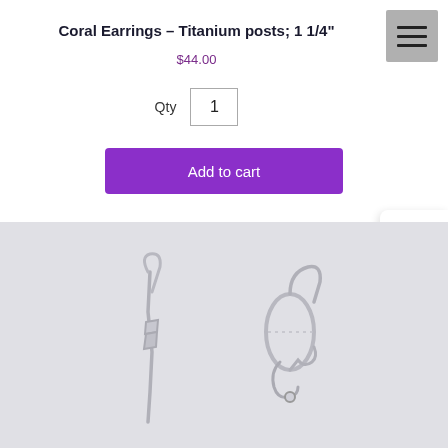Coral Earrings – Titanium posts; 1 1/4"
$44.00
Qty  1
Add to cart
[Figure (photo): Two silver lever-back earring findings shown side by side on a light gray background. The left earring is shown from the side/back angle and the right earring is shown from the front, displaying the lever-back clasp mechanism.]